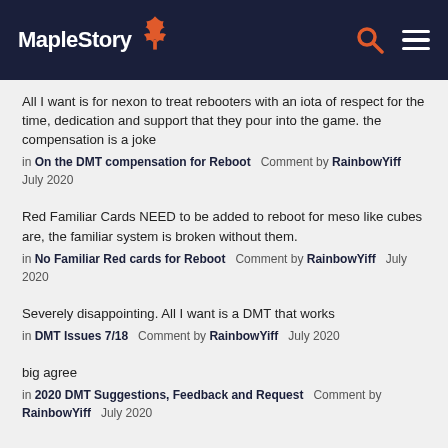MapleStory
All I want is for nexon to treat rebooters with an iota of respect for the time, dedication and support that they pour into the game. the compensation is a joke
in On the DMT compensation for Reboot   Comment by RainbowYiff   July 2020
Red Familiar Cards NEED to be added to reboot for meso like cubes are, the familiar system is broken without them.
in No Familiar Red cards for Reboot   Comment by RainbowYiff   July 2020
Severely disappointing. All I want is a DMT that works
in DMT Issues 7/18   Comment by RainbowYiff   July 2020
big agree
in 2020 DMT Suggestions, Feedback and Request   Comment by RainbowYiff   July 2020